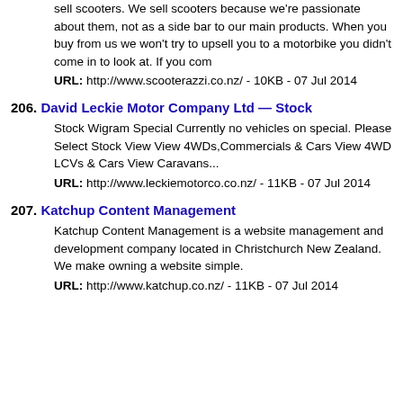sell scooters. We sell scooters because we're passionate about them, not as a side bar to our main products. When you buy from us we won't try to upsell you to a motorbike you didn't come in to look at. If you com
URL: http://www.scooterazzi.co.nz/ - 10KB - 07 Jul 2014
206. David Leckie Motor Company Ltd — Stock
Stock Wigram Special Currently no vehicles on special. Please Select Stock View View 4WDs,Commercials & Cars View 4WD LCVs & Cars View Caravans...
URL: http://www.leckiemotorco.co.nz/ - 11KB - 07 Jul 2014
207. Katchup Content Management
Katchup Content Management is a website management and development company located in Christchurch New Zealand. We make owning a website simple.
URL: http://www.katchup.co.nz/ - 11KB - 07 Jul 2014